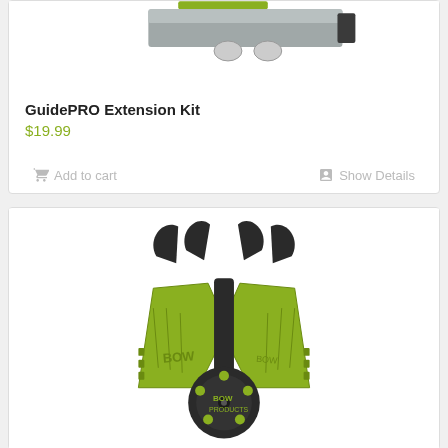[Figure (photo): GuidePRO Extension Kit product image showing a green and silver tool with black attachments on white background]
GuidePRO Extension Kit
$19.99
Add to cart
Show Details
[Figure (photo): Green plastic BOW Products archery broadhead wrench/tool with black blade holders and dark central hub showing BOW PRODUCTS branding]